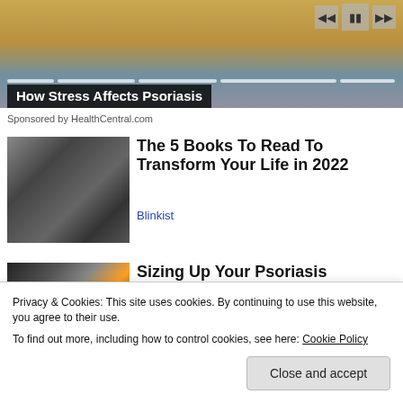[Figure (screenshot): Video player banner showing a blurred background image with playback controls (previous, pause, next) and progress bar segments at top, with a dark overlay title box showing 'How Stress Affects Psoriasis']
Sponsored by HealthCentral.com
[Figure (photo): Black and white photo of a young man with long hair and round glasses]
The 5 Books To Read To Transform Your Life in 2022
Blinkist
[Figure (photo): Thumbnail image showing a dimly lit scene with colorful bokeh lights]
Sizing Up Your Psoriasis
Privacy & Cookies: This site uses cookies. By continuing to use this website, you agree to their use.
To find out more, including how to control cookies, see here: Cookie Policy